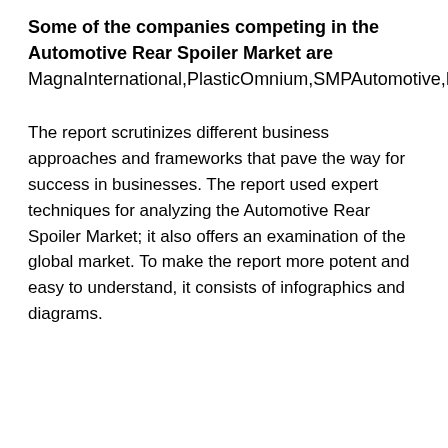Some of the companies competing in the Automotive Rear Spoiler Market are MagnaInternational,PlasticOmnium,SMPAutomotive,PolytecGroup,ThaiRungUnionCarPlc,INOACCorporation,VolkswagenGroup,DARSpoilers,Aisin,ValmetAutomotive
The report scrutinizes different business approaches and frameworks that pave the way for success in businesses. The report used expert techniques for analyzing the Automotive Rear Spoiler Market; it also offers an examination of the global market. To make the report more potent and easy to understand, it consists of infographics and diagrams.